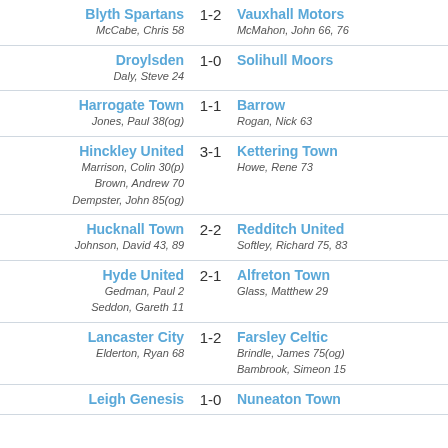| Home | Score | Away |
| --- | --- | --- |
| Blyth Spartans
McCabe, Chris 58 | 1-2 | Vauxhall Motors
McMahon, John 66, 76 |
| Droylsden
Daly, Steve 24 | 1-0 | Solihull Moors |
| Harrogate Town
Jones, Paul 38(og) | 1-1 | Barrow
Rogan, Nick 63 |
| Hinckley United
Marrison, Colin 30(p)
Brown, Andrew 70
Dempster, John 85(og) | 3-1 | Kettering Town
Howe, Rene 73 |
| Hucknall Town
Johnson, David 43, 89 | 2-2 | Redditch United
Softley, Richard 75, 83 |
| Hyde United
Gedman, Paul 2
Seddon, Gareth 11 | 2-1 | Alfreton Town
Glass, Matthew 29 |
| Lancaster City
Elderton, Ryan 68 | 1-2 | Farsley Celtic
Brindle, James 75(og)
Bambrook, Simeon 15 |
| Leigh Genesis | 1-0 | Nuneaton Town |